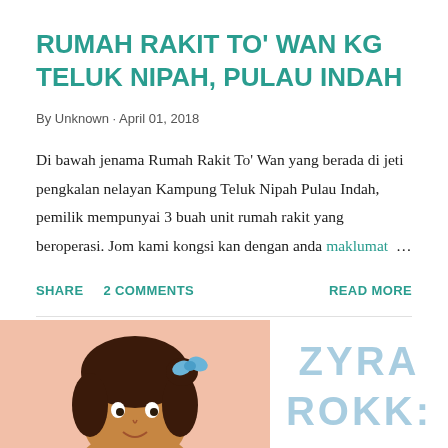RUMAH RAKIT TO' WAN KG TELUK NIPAH, PULAU INDAH
By Unknown · April 01, 2018
Di bawah jenama Rumah Rakit To' Wan yang berada di jeti pengkalan nelayan Kampung Teluk Nipah Pulau Indah, pemilik mempunyai 3 buah unit rumah rakit yang beroperasi. Jom kami kongsi kan dengan anda maklumat ...
SHARE   2 COMMENTS   READ MORE
[Figure (illustration): Cartoon illustration of a girl with brown hair and a blue bow, on a pink background — partially visible at bottom left]
[Figure (logo): Text logo reading ZYRA ROKK: in light blue stylized lettering on white background — partially visible at bottom right]